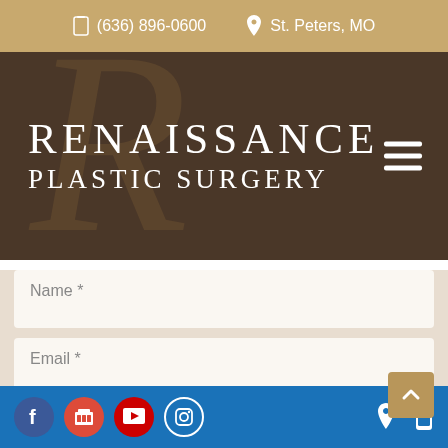(636) 896-0600   St. Peters, MO
[Figure (logo): Renaissance Plastic Surgery logo with decorative R monogram on dark brown background, with hamburger menu icon]
Name *
Email *
Phone
Facebook, Google, YouTube, Instagram social icons; location and mobile icons on right